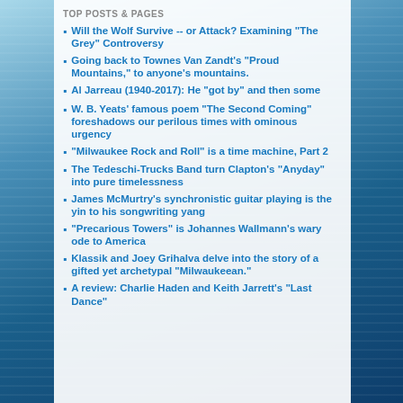TOP POSTS & PAGES
Will the Wolf Survive -- or Attack? Examining "The Grey" Controversy
Going back to Townes Van Zandt's "Proud Mountains," to anyone's mountains.
Al Jarreau (1940-2017): He "got by" and then some
W. B. Yeats' famous poem "The Second Coming" foreshadows our perilous times with ominous urgency
"Milwaukee Rock and Roll" is a time machine, Part 2
The Tedeschi-Trucks Band turn Clapton's "Anyday" into pure timelessness
James McMurtry's synchronistic guitar playing is the yin to his songwriting yang
"Precarious Towers" is Johannes Wallmann's wary ode to America
Klassik and Joey Grihalva delve into the story of a gifted yet archetypal "Milwaukeean."
A review: Charlie Haden and Keith Jarrett's "Last Dance"